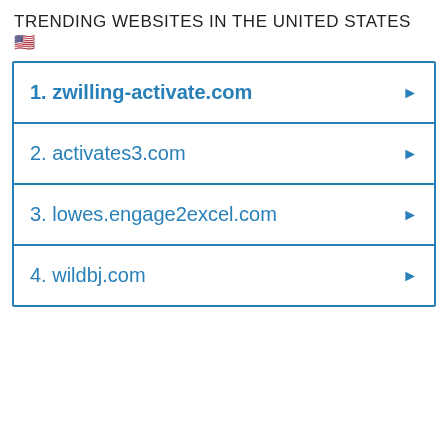TRENDING WEBSITES IN THE UNITED STATES 🇺🇸
1. zwilling-activate.com
2. activates3.com
3. lowes.engage2excel.com
4. wildbj.com